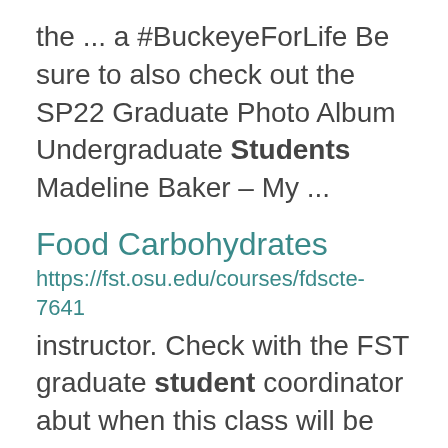the ... a #BuckeyeForLife Be sure to also check out the SP22 Graduate Photo Album Undergraduate Students Madeline Baker – My ...
Food Carbohydrates
https://fst.osu.edu/courses/fdscte-7641
instructor. Check with the FST graduate student coordinator abut when this class will be offered. Graduate 2.0 ...
Food Lipids
https://fst.osu.edu/courses/fdscte-7650
FDSCTE 7650 Provide the students with a understanding of the chemistry and